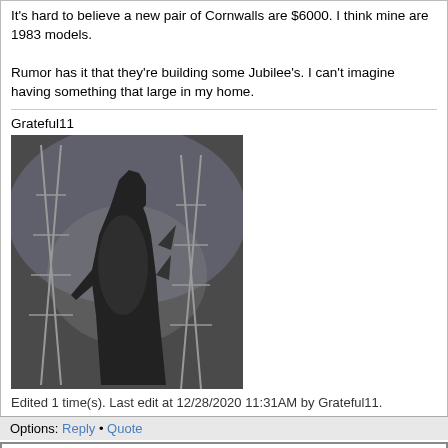It's hard to believe a new pair of Cornwalls are $6000. I think mine are 1983 models.

Rumor has it that they're building some Jubilee's. I can't imagine having something that large in my home.
Grateful11
[Figure (photo): Black and white photo of Godzilla monster standing tall between electrical transmission towers]
Edited 1 time(s). Last edit at 12/28/2020 11:31AM by Grateful11.
Options: Reply • Quote
Re: Is Klipsch going down hill?
Posted by: Grateful11
Date: December 28, 2020 11:42AM
On a side note, I bought the Cornwalls to resell. I took photos of them